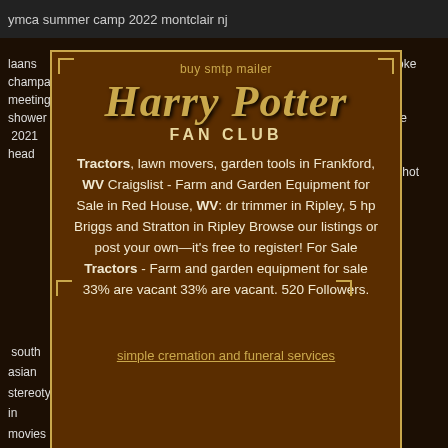ymca summer camp 2022 montclair nj
laans
champagne
meeting
shower
2021
head
roanoke
deba
crime
classe
times
for
mugshot
adult
near
me
buy smtp mailer
Harry Potter
FAN CLUB
Tractors, lawn movers, garden tools in Frankford, WV Craigslist - Farm and Garden Equipment for Sale in Red House, WV: dr trimmer in Ripley, 5 hp Briggs and Stratton in Ripley Browse our listings or post your own—it's free to register! For Sale Tractors - Farm and garden equipment for sale 33% are vacant 33% are vacant. 520 Followers.
simple cremation and funeral services
south
asian
stereotypes
in
movies
western catskills glamping
chicago
coach
house
for
rent